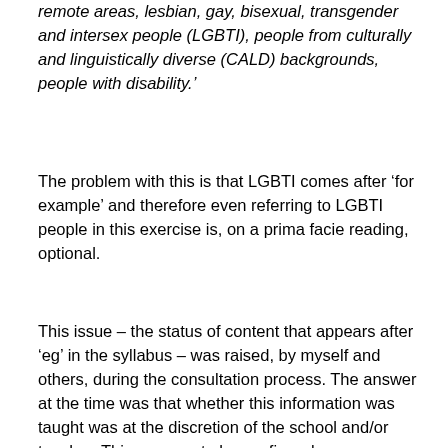remote areas, lesbian, gay, bisexual, transgender and intersex people (LGBTI), people from culturally and linguistically diverse (CALD) backgrounds, people with disability.'
The problem with this is that LGBTI comes after ‘for example’ and therefore even referring to LGBTI people in this exercise is, on a prima facie reading, optional.
This issue – the status of content that appears after ‘eg’ in the syllabus – was raised, by myself and others, during the consultation process. The answer at the time was that whether this information was taught was at the discretion of the school and/or teacher. This appears to be confirmed